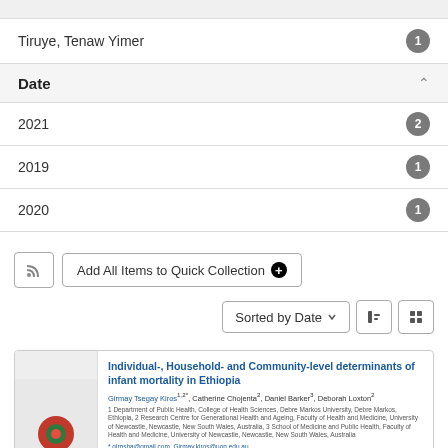Tiruye, Tenaw Yimer · 1
Date
2021 · 2
2019 · 1
2020 · 1
Add All Items to Quick Collection
Sorted by Date
Individual-, Household- and Community-level determinants of infant mortality in Ethiopia
Girmay Tsegay Kiros, Catherine Chojenta, Daniel Barker, Deborah Loxton
1 Department of Public Health, College of Health Sciences, Debre Markos University, Debre Markos, Ethiopia, 2 Research Centre for Generational Health and Ageing, Faculty of Health and Medicine, University of Newcastle, Newcastle, New South Wales, Australia, 3 School of Medicine and Public Health, Faculty of Health and Medicine, University of Newcastle, Newcastle, New South Wales, Australia
* girnsha@gmail.com, Girmay.kiros@uon.edu.au